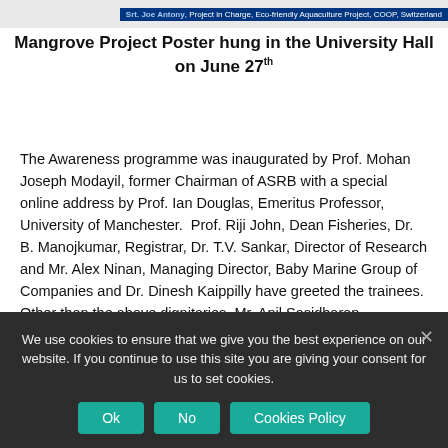[Figure (photo): Top strip showing a photo and text about Eco-friendly Aquaculture Project, COOP Switzerland, with Srt. Joe Antony listed as Project in Charge.]
Mangrove Project Poster hung in the University Hall on June 27th
The Awareness programme was inaugurated by Prof. Mohan Joseph Modayil, former Chairman of ASRB with a special online address by Prof. Ian Douglas, Emeritus Professor, University of Manchester.  Prof. Riji John, Dean Fisheries, Dr. B. Manojkumar, Registrar, Dr. T.V. Sankar, Director of Research and Mr. Alex Ninan, Managing Director, Baby Marine Group of Companies and Dr. Dinesh Kaippilly have greeted the trainees. Other than the above dignitaries, Mr. Anil Sasidharan, Managing Director, JASS Ventures and Mr. Joe Antony, Representative of COOP Switzerland also delivered lectures.
We use cookies to ensure that we give you the best experience on our website. If you continue to use this site you are giving your consent for us to set cookies.